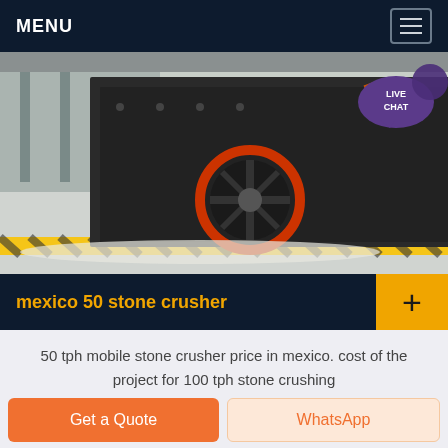MENU
[Figure (photo): Industrial stone crusher machine on a factory floor, large black metal crushing unit with orange circular flywheel, yellow and black hazard striping on floor, workers in background near another crusher machine, LIVE CHAT bubble overlay in top right]
mexico 50 stone crusher
50 tph mobile stone crusher price in mexico. cost of the project for 100 tph stone crushing
Get a Quote
WhatsApp